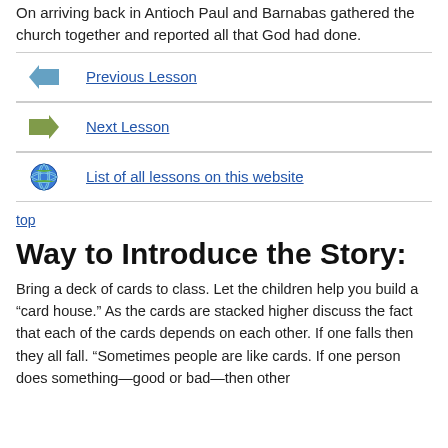On arriving back in Antioch Paul and Barnabas gathered the church together and reported all that God had done.
Previous Lesson
Next Lesson
List of all lessons on this website
top
Way to Introduce the Story:
Bring a deck of cards to class. Let the children help you build a “card house.” As the cards are stacked higher discuss the fact that each of the cards depends on each other. If one falls then they all fall. “Sometimes people are like cards. If one person does something—good or bad—then other